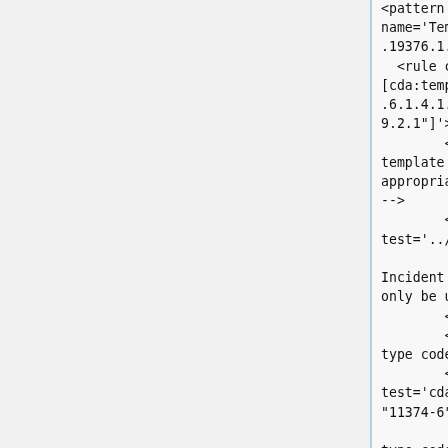<pattern name='Template_1.3.6.1.4.1.19376.1.5.3.1.1.19.2.1'>
  <rule context='*[cda:templateId/@root="1.3.6.1.4.1.19376.1.5.3.1.1.19.2.1"]'>
        <!-- Verify that the template id is used on the appropriate type of object -->
        <assert test='../cda:section'>
              Error: The Injury Incident Description can only be used on sections.
        </assert>
        <!-- Verify the section type code -->
        <assert test='cda:code[@code = "11374-6"]'>
              Error: The section type code of a Injury Incident Description must